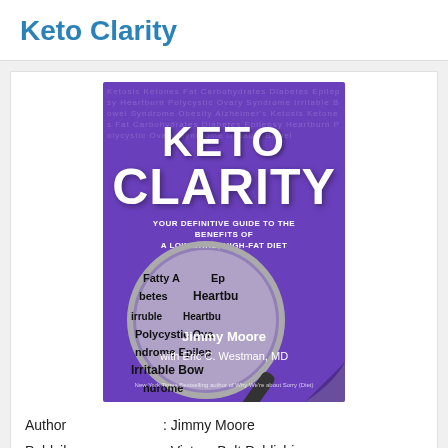Keto Clarity
[Figure (photo): Book cover of 'Keto Clarity' by Jimmy Moore with Eric C. Westman, MD. Purple background with white bold title text 'KETO CLARITY', subtitle 'Your Definitive Guide to the Benefits of a Low-Carb, High-Fat Diet', magnifying glass showing various health conditions, and authors' names at bottom.]
| Author | : Jimmy Moore |
| Publsiher | : Victory Belt Publishing |